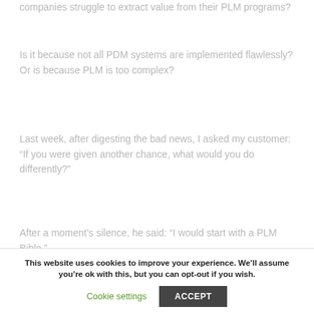companies struggle to extract value from their PLM programs?
Is it because not all PDM systems are implemented flawlessly? Or is because PLM is too complex?
Last week, after digesting the bad news, I asked my customer: “If you were given another chance, what would you do differently?”
After a moment’s silence, he said: “I would start with a PLM Bible.”
This website uses cookies to improve your experience. We’ll assume you’re ok with this, but you can opt-out if you wish.
Cookie settings
ACCEPT